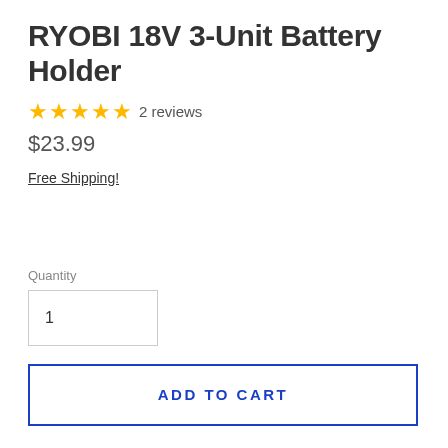RYOBI 18V 3-Unit Battery Holder
★★★★★ 2 reviews
$23.99
Free Shipping!
Quantity
1
ADD TO CART